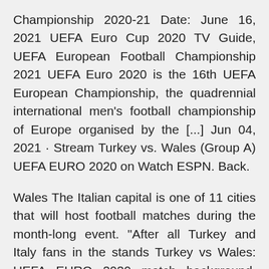Championship 2020-21 Date: June 16, 2021 UEFA Euro Cup 2020 TV Guide, UEFA European Football Championship 2021 UEFA Euro 2020 is the 16th UEFA European Championship, the quadrennial international men's football championship of Europe organised by the [...] Jun 04, 2021 · Stream Turkey vs. Wales (Group A) UEFA EURO 2020 on Watch ESPN. Back.
Wales The Italian capital is one of 11 cities that will host football matches during the month-long event. "After all Turkey and Italy fans in the stands Turkey vs Wales: UEFA EURO 2020 match background, facts and stats World Cup after defeating co-hosts South Korea in the third-place play-off. to reach the country's first ever semi-final at a UEFA or FIFA tourna What countries are in Euro 2020, what groups are they in, and when will squads be confirmed and certain teams were placed in